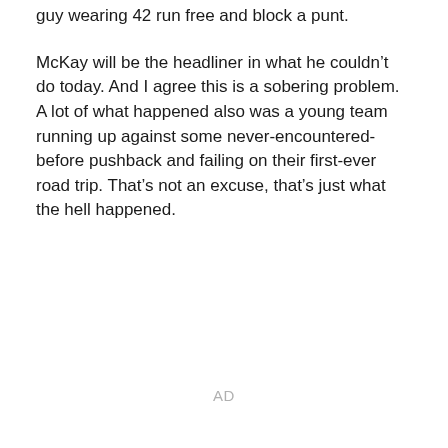guy wearing 42 run free and block a punt.
McKay will be the headliner in what he couldn’t do today. And I agree this is a sobering problem. A lot of what happened also was a young team running up against some never-encountered-before pushback and failing on their first-ever road trip. That’s not an excuse, that’s just what the hell happened.
AD